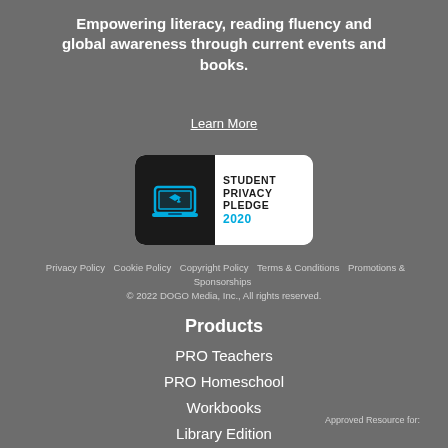Empowering literacy, reading fluency and global awareness through current events and books.
Learn More
[Figure (logo): Student Privacy Pledge 2020 badge with laptop icon on dark background and white panel with text]
Privacy Policy  Cookie Policy  Copyright Policy  Terms & Conditions  Promotions & Sponsorships
© 2022 DOGO Media, Inc., All rights reserved.
Products
PRO Teachers
PRO Homeschool
Workbooks
Library Edition
Approved Resource for: